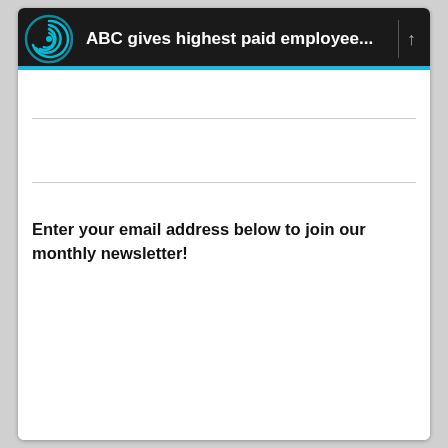ABC gives highest paid employee...
Enter your email address below to join our monthly newsletter!